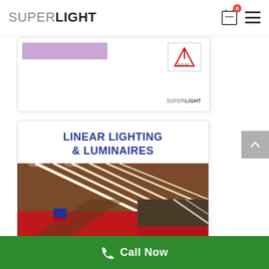SUPERLIGHT
[Figure (screenshot): Partial product card with purple button bar, Adobe logo icon, and SUPERLIGHT watermark]
LINEAR LIGHTING & LUMINAIRES
[Figure (photo): Interior architectural photo showing linear LED lighting strips on ceiling of a building with red and wood-toned finishes]
Call Now